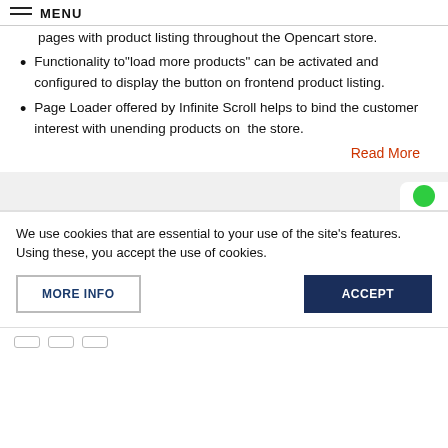MENU
pages with product listing throughout the Opencart store.
Functionality to"load more products" can be activated and configured to display the button on frontend product listing.
Page Loader offered by Infinite Scroll helps to bind the customer interest with unending products on  the store.
Read More
We use cookies that are essential to your use of the site's features. Using these, you accept the use of cookies.
MORE INFO
ACCEPT